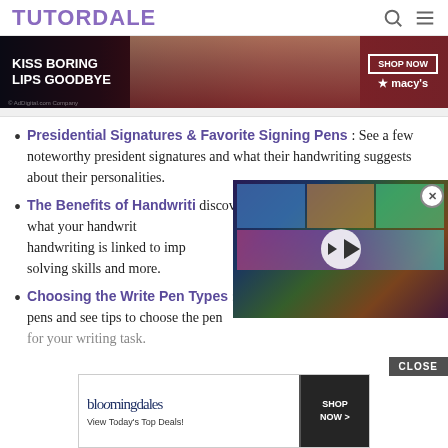TUTORDALE
[Figure (photo): Macy's advertisement banner: KISS BORING LIPS GOODBYE with model photo and SHOP NOW button]
Presidential Signatures & Favorite Signing Pens : See a few noteworthy president signatures and what their handwriting suggests about their personalities.
The Benefits of Handwriting : discover what your handwriting says about you. handwriting is linked to improved memory, problem-solving skills and more.
[Figure (screenshot): Video overlay with play button showing colorful artwork in background]
Choosing the Write Pen Types : Learn about the different types of pens and see tips to choose the pen for your writing task.
[Figure (photo): Bloomingdales advertisement: View Today's Top Deals! SHOP NOW >]